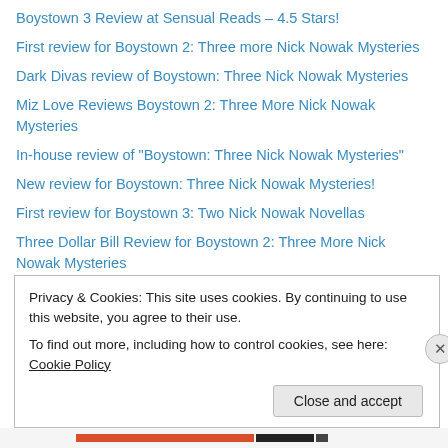Boystown 3 Review at Sensual Reads – 4.5 Stars!
First review for Boystown 2: Three more Nick Nowak Mysteries
Dark Divas review of Boystown: Three Nick Nowak Mysteries
Miz Love Reviews Boystown 2: Three More Nick Nowak Mysteries
In-house review of "Boystown: Three Nick Nowak Mysteries"
New review for Boystown: Three Nick Nowak Mysteries!
First review for Boystown 3: Two Nick Nowak Novellas
Three Dollar Bill Review for Boystown 2: Three More Nick Nowak Mysteries
Boystown 4 Reviewed at Sensual Reads
Ebook Addict Review of Boystown 3
Coffee Time Romance Review of Boystown 4
Boystown 5 review at Jessewave!
Terrific review of Boystown 3 at Three Dollar Bill Reviews
Privacy & Cookies: This site uses cookies. By continuing to use this website, you agree to their use.
To find out more, including how to control cookies, see here: Cookie Policy
Close and accept